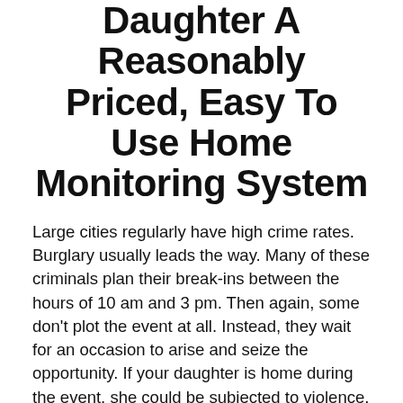Daughter A Reasonably Priced, Easy To Use Home Monitoring System
Large cities regularly have high crime rates. Burglary usually leads the way. Many of these criminals plan their break-ins between the hours of 10 am and 3 pm. Then again, some don't plot the event at all. Instead, they wait for an occasion to arise and seize the opportunity. If your daughter is home during the event, she could be subjected to violence, verbal mistreatment, or sexual assault.
Therefore, it is a good idea to send her off with an affordable and simple to use wireless monitoring system. It will allow the young woman to receive alerts, view live feeds, and analyze past footage. The device can prevent her from walking into a dangerous